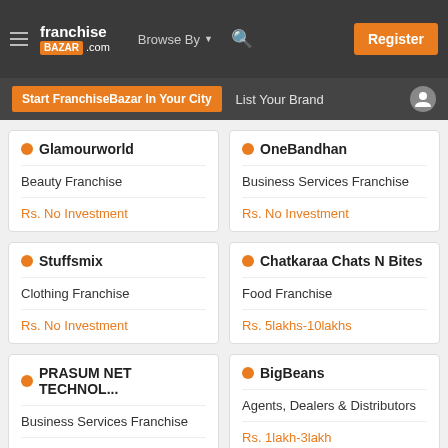franchise BAZAR .com | Browse By | Register
Start FranchiseBazar In Your City | List Your Brand
Glamourworld
Beauty Franchise
Rs. No Investment
OneBandhan
Business Services Franchise
Rs. No Investment
Stuffsmix
Clothing Franchise
Rs. No Investment
Chatkaraa Chats N Bites
Food Franchise
Rs. 5lakhs-10lakhs
PRASUM NET TECHNOL...
Business Services Franchise
Rs. No Investment
BigBeans
Agents, Dealers & Distributors
Rs. 1lakh-3lakh